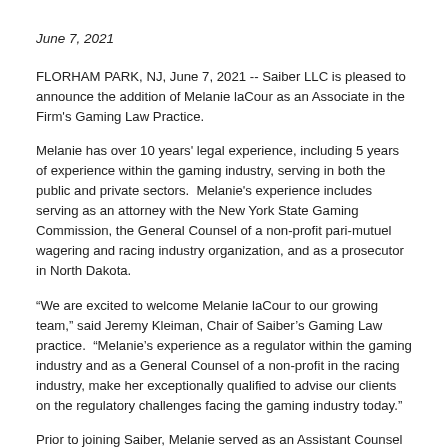June 7, 2021
FLORHAM PARK, NJ, June 7, 2021 -- Saiber LLC is pleased to announce the addition of Melanie laCour as an Associate in the Firm's Gaming Law Practice.
Melanie has over 10 years' legal experience, including 5 years of experience within the gaming industry, serving in both the public and private sectors.  Melanie's experience includes serving as an attorney with the New York State Gaming Commission, the General Counsel of a non-profit pari-mutuel wagering and racing industry organization, and as a prosecutor in North Dakota.
“We are excited to welcome Melanie laCour to our growing team,” said Jeremy Kleiman, Chair of Saiber’s Gaming Law practice.  “Melanie’s experience as a regulator within the gaming industry and as a General Counsel of a non-profit in the racing industry, make her exceptionally qualified to advise our clients on the regulatory challenges facing the gaming industry today.”
Prior to joining Saiber, Melanie served as an Assistant Counsel